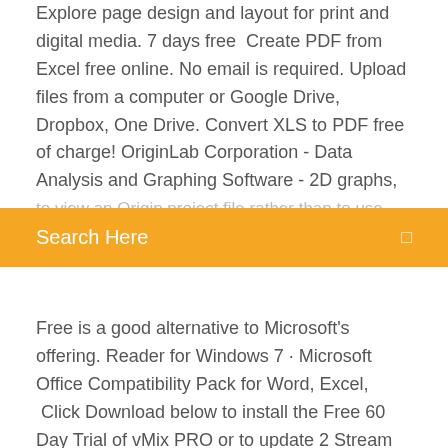Explore page design and layout for print and digital media. 7 days free  Create PDF from Excel free online. No email is required. Upload files from a computer or Google Drive, Dropbox, One Drive. Convert XLS to PDF free of charge! OriginLab Corporation - Data Analysis and Graphing Software - 2D graphs, to view an Origin project file rather than to use Origin a free
[Figure (screenshot): Orange search bar with 'Search Here' placeholder text and a search icon on the right]
(partial/cut-off orange text line)
Free is a good alternative to Microsoft's offering. Reader for Windows 7 · Microsoft Office Compatibility Pack for Word, Excel,  Click Download below to install the Free 60 Day Trial of vMix PRO or to update 2 Stream PC encode limit applies to GeForce cards, CPU fallback available
Telecharger excel 2007 gratuit pour windows xp Microsoft office excel 2007 - Windows 7; Télécharger Microsoft Office 2007; Telecharger gratuit word excel access et autres; Chiffres en Lettres (excel 2007)